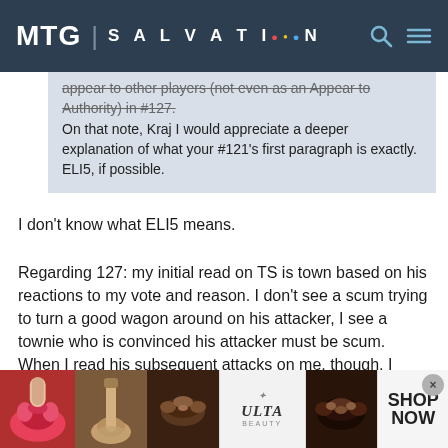MTG | SALVATION
appear to other players (not even as an Appear to Authority) in #127.
On that note, Kraj I would appreciate a deeper explanation of what your #121's first paragraph is exactly. ELI5, if possible.
I don't know what ELI5 means.
Regarding 127: my initial read on TS is town based on his reactions to my vote and reason. I don't see a scum trying to turn a good wagon around on his attacker, I see a townie who is convinced his attacker must be scum. When I read his subsequent attacks on me, though, I don't see any actual logic. He's accusing me of tells that don't fit his explanations, and presenting facts that—as fa... m...
[Figure (advertisement): ULTA beauty advertisement banner with lip makeup, brush, eye makeup photos and SHOP NOW text]